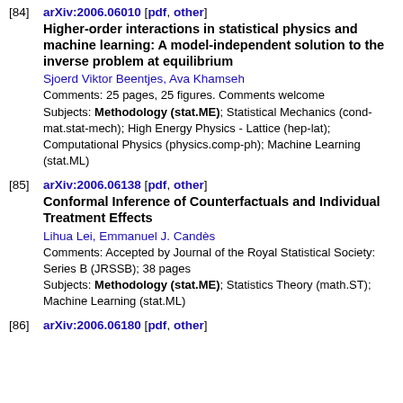[84] arXiv:2006.06010 [pdf, other]
Higher-order interactions in statistical physics and machine learning: A model-independent solution to the inverse problem at equilibrium
Sjoerd Viktor Beentjes, Ava Khamseh
Comments: 25 pages, 25 figures. Comments welcome
Subjects: Methodology (stat.ME); Statistical Mechanics (cond-mat.stat-mech); High Energy Physics - Lattice (hep-lat); Computational Physics (physics.comp-ph); Machine Learning (stat.ML)
[85] arXiv:2006.06138 [pdf, other]
Conformal Inference of Counterfactuals and Individual Treatment Effects
Lihua Lei, Emmanuel J. Candès
Comments: Accepted by Journal of the Royal Statistical Society: Series B (JRSSB); 38 pages
Subjects: Methodology (stat.ME); Statistics Theory (math.ST); Machine Learning (stat.ML)
[86] arXiv:2006.06180 [pdf, other]